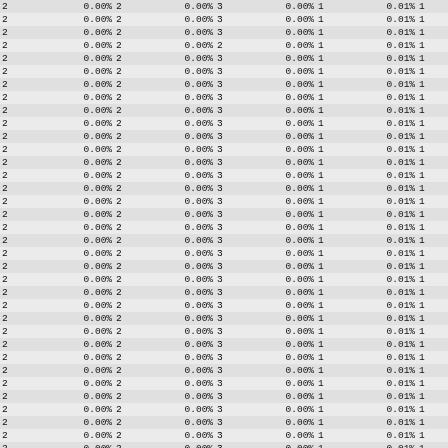|  |  |  |  |  |  |  |  |  |
| --- | --- | --- | --- | --- | --- | --- | --- | --- |
| 2 | 0.00% | 2 | 0.00% | 3 | 0.00% | 1 | 0.01% | 1 |
| 2 | 0.00% | 2 | 0.00% | 3 | 0.00% | 1 | 0.01% | 1 |
| 2 | 0.00% | 2 | 0.00% | 3 | 0.00% | 1 | 0.01% | 1 |
| 2 | 0.00% | 2 | 0.00% | 2 | 0.00% | 1 | 0.01% | 1 |
| 2 | 0.00% | 2 | 0.00% | 3 | 0.00% | 1 | 0.01% | 1 |
| 2 | 0.00% | 2 | 0.00% | 3 | 0.00% | 1 | 0.01% | 1 |
| 2 | 0.00% | 2 | 0.00% | 3 | 0.00% | 1 | 0.01% | 1 |
| 2 | 0.00% | 2 | 0.00% | 3 | 0.00% | 1 | 0.01% | 1 |
| 2 | 0.00% | 2 | 0.00% | 3 | 0.00% | 1 | 0.01% | 1 |
| 2 | 0.00% | 2 | 0.00% | 3 | 0.00% | 1 | 0.01% | 1 |
| 2 | 0.00% | 2 | 0.00% | 3 | 0.00% | 1 | 0.01% | 1 |
| 2 | 0.00% | 2 | 0.00% | 3 | 0.00% | 1 | 0.01% | 1 |
| 2 | 0.00% | 2 | 0.00% | 3 | 0.00% | 1 | 0.01% | 1 |
| 2 | 0.00% | 2 | 0.00% | 3 | 0.00% | 1 | 0.01% | 1 |
| 2 | 0.00% | 2 | 0.00% | 3 | 0.00% | 1 | 0.01% | 1 |
| 2 | 0.00% | 2 | 0.00% | 3 | 0.00% | 1 | 0.01% | 1 |
| 2 | 0.00% | 2 | 0.00% | 3 | 0.00% | 1 | 0.01% | 1 |
| 2 | 0.00% | 2 | 0.00% | 3 | 0.00% | 1 | 0.01% | 1 |
| 2 | 0.00% | 2 | 0.00% | 3 | 0.00% | 1 | 0.01% | 1 |
| 2 | 0.00% | 2 | 0.00% | 3 | 0.00% | 1 | 0.01% | 1 |
| 2 | 0.00% | 2 | 0.00% | 3 | 0.00% | 1 | 0.01% | 1 |
| 2 | 0.00% | 2 | 0.00% | 3 | 0.00% | 1 | 0.01% | 1 |
| 2 | 0.00% | 2 | 0.00% | 3 | 0.00% | 1 | 0.01% | 1 |
| 2 | 0.00% | 2 | 0.00% | 3 | 0.00% | 1 | 0.01% | 1 |
| 2 | 0.00% | 2 | 0.00% | 3 | 0.00% | 1 | 0.01% | 1 |
| 2 | 0.00% | 2 | 0.00% | 3 | 0.00% | 1 | 0.01% | 1 |
| 2 | 0.00% | 2 | 0.00% | 3 | 0.00% | 1 | 0.01% | 1 |
| 2 | 0.00% | 2 | 0.00% | 3 | 0.00% | 1 | 0.01% | 1 |
| 2 | 0.00% | 2 | 0.00% | 3 | 0.00% | 1 | 0.01% | 1 |
| 2 | 0.00% | 2 | 0.00% | 3 | 0.00% | 1 | 0.01% | 1 |
| 2 | 0.00% | 2 | 0.00% | 3 | 0.00% | 1 | 0.01% | 1 |
| 2 | 0.00% | 2 | 0.00% | 3 | 0.00% | 1 | 0.01% | 1 |
| 2 | 0.00% | 2 | 0.00% | 3 | 0.00% | 1 | 0.01% | 1 |
| 2 | 0.00% | 2 | 0.00% | 3 | 0.00% | 1 | 0.01% | 1 |
| 2 | 0.00% | 2 | 0.00% | 3 | 0.00% | 1 | 0.01% | 1 |
| 2 | 0.00% | 2 | 0.00% | 3 | 0.00% | 1 | 0.01% | 1 |
| 2 | 0.00% | 2 | 0.00% | 3 | 0.00% | 1 | 0.01% | 1 |
| 2 | 0.00% | 2 | 0.00% | 3 | 0.00% | 1 | 0.01% | 1 |
| 2 | 0.00% | 2 | 0.00% | 3 | 0.00% | 1 | 0.01% | 1 |
| 2 | 0.00% | 2 | 0.00% | 3 | 0.00% | 1 | 0.01% | 1 |